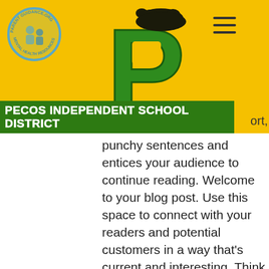[Figure (logo): Pecos Independent School District header banner with yellow background, circular Parent Guidance mental health resources logo on left, large green letter P with panther mascot logo in center, hamburger menu icon on right, and green district name bar at bottom reading PECOS INDEPENDENT SCHOOL DISTRICT]
ort, punchy sentences and entices your audience to continue reading. Welcome to your blog post. Use this space to connect with your readers and potential customers in a way that's current and interesting. Think of it as an ongoing conversation where you can share updates about business, trends, news, and more. Design with Ease Do you have a design in mind for your blog? Whether you prefer a trendy postcard look